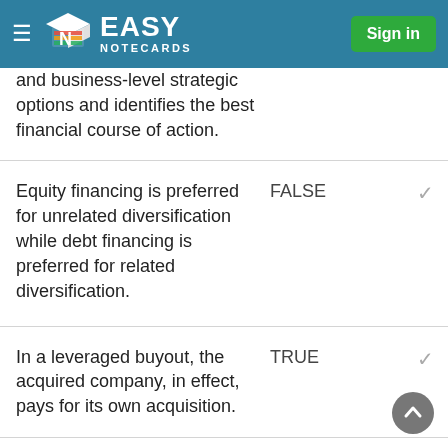Easy Notecards — Sign in
and business-level strategic options and identifies the best financial course of action.
Equity financing is preferred for unrelated diversification while debt financing is preferred for related diversification. | FALSE
In a leveraged buyout, the acquired company, in effect, pays for its own acquisition. | TRUE